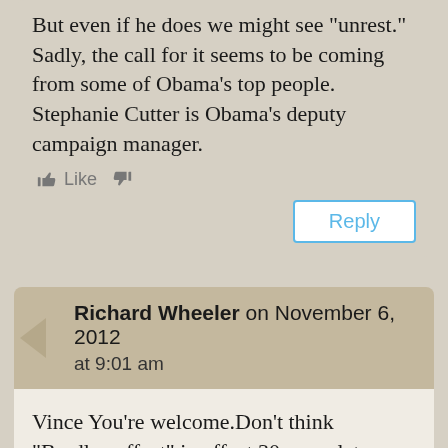But even if he does we might see “unrest.” Sadly, the call for it seems to be coming from some of Obama’s top people. Stephanie Cutter is Obama’s deputy campaign manager.
Like [thumbs up] [thumbs down]
Reply
Richard Wheeler on November 6, 2012 at 9:01 am
Vince You’re welcome.Don’t think “Bradley effect” in effect 30 years later.